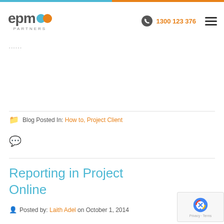EPM Partners - 1300 123 376
Blog Posted In: How to, Project Client
Reporting in Project Online
Posted by: Laith Adel on October 1, 2014